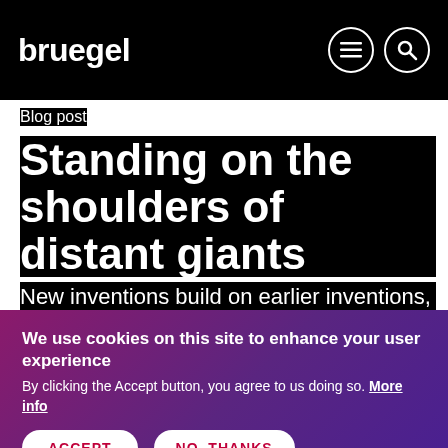bruegel
Blog post
Standing on the shoulders of distant giants
New inventions build on earlier inventions, so patent citations are one indication of who is
We use cookies on this site to enhance your user experience
By clicking the Accept button, you agree to us doing so. More info
ACCEPT
NO, THANKS